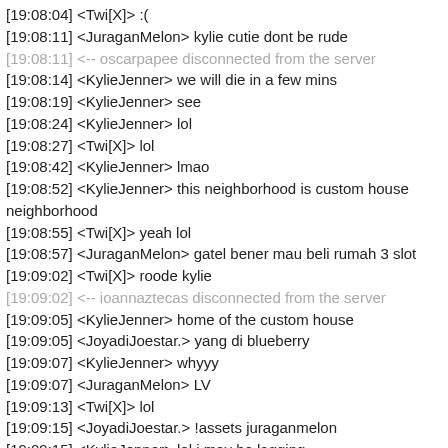[19:08:04] <Twi[X]> :(
[19:08:11] <JuraganMelon> kylie cutie dont be rude
[19:08:11] <-- oscarpapee disconnected from the server
[19:08:14] <KylieJenner> we will die in a few mins
[19:08:19] <KylieJenner> see
[19:08:24] <KylieJenner> lol
[19:08:27] <Twi[X]> lol
[19:08:42] <KylieJenner> lmao
[19:08:52] <KylieJenner> this neighborhood is custom house neighborhood
[19:08:55] <Twi[X]> yeah lol
[19:08:57] <JuraganMelon> gatel bener mau beli rumah 3 slot
[19:09:02] <Twi[X]> roode kylie
[19:09:02] <-- ioannaztecas disconnected from the server
[19:09:05] <KylieJenner> home of the custom house
[19:09:05] <JoyadiJoestar.> yang di blueberry
[19:09:07] <KylieJenner> whyyy
[19:09:07] <JuraganMelon> LV
[19:09:13] <Twi[X]> lol
[19:09:15] <JoyadiJoestar.> !assets juraganmelon
[19:09:15] <KylieJenner> lol i may be lagging
[19:09:18] (WEB) <robin_be> juraganmelon has 0 car(s) ($0) and 1 house(s) ($10,000,000 - 7 slots) for a total of $10,000,000
[19:09:18] <Twi[X]> you wanna drive?
[19:09:23] <KylieJenner> i didnt steal yo car